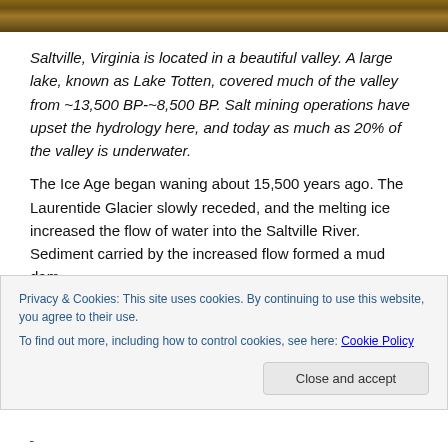[Figure (photo): Aerial or landscape photo strip of Saltville, Virginia valley area]
Saltville, Virginia is located in a beautiful valley. A large lake, known as Lake Totten, covered much of the valley from ~13,500 BP-~8,500 BP. Salt mining operations have upset the hydrology here, and today as much as 20% of the valley is underwater.
The Ice Age began waning about 15,500 years ago. The Laurentide Glacier slowly receded, and the melting ice increased the flow of water into the Saltville River. Sediment carried by the increased flow formed a mud dam
Privacy & Cookies: This site uses cookies. By continuing to use this website, you agree to their use.
To find out more, including how to control cookies, see here: Cookie Policy
Close and accept